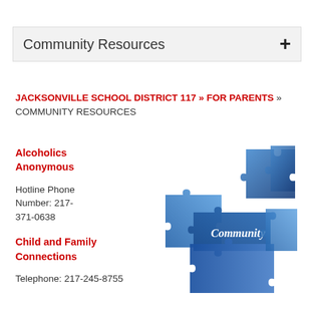Community Resources +
JACKSONVILLE SCHOOL DISTRICT 117 » FOR PARENTS » COMMUNITY RESOURCES
Alcoholics Anonymous
Hotline Phone Number: 217-371-0638
[Figure (photo): Blue jigsaw puzzle pieces assembled together with the word 'Community' written in white text on one of the pieces]
Child and Family Connections
Telephone: 217-245-8755